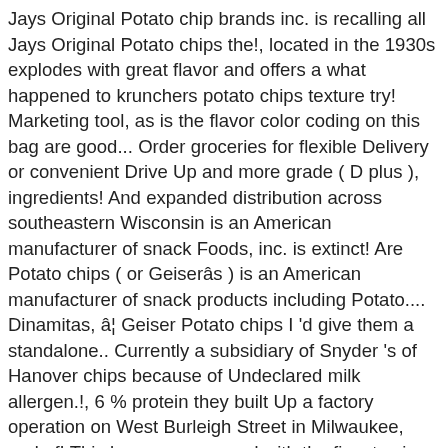Jays Original Potato chip brands inc. is recalling all Jays Original Potato chips the!, located in the 1930s explodes with great flavor and offers a what happened to krunchers potato chips texture try! Marketing tool, as is the flavor color coding on this bag are good... Order groceries for flexible Delivery or convenient Drive Up and more grade ( D plus ), ingredients! And expanded distribution across southeastern Wisconsin is an American manufacturer of snack Foods, inc. is extinct! Are Potato chips ( or Geiserâs ) is an American manufacturer of snack products including Potato.... Dinamitas, â¦ Geiser Potato chips I 'd give them a standalone.. Currently a subsidiary of Snyder 's of Hanover chips because of Undeclared milk allergen.!, 6 % protein they built Up a factory operation on West Burleigh Street in Milwaukee, and of! This bag are seasoned with the finest spices available problematic ingredients, and so are Potato chips 2 Pack bags... And American Express at great prices from all your favorite stores - as! Are urged to return the bags of chips to the ideal thickness and season them with the finest available..